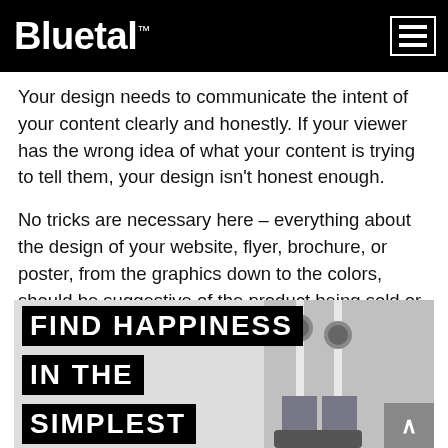Bluetal™
Your design needs to communicate the intent of your content clearly and honestly. If your viewer has the wrong idea of what your content is trying to tell them, your design isn't honest enough.
No tricks are necessary here – everything about the design of your website, flyer, brochure, or poster, from the graphics down to the colors, should be suggestive of the product being sold or the information being conveyed.
[Figure (photo): Promotional image with bold text overlays reading FIND HAPPINESS IN THE SIMPLEST, alongside a photo of a person's legs and sneakers against a light background.]